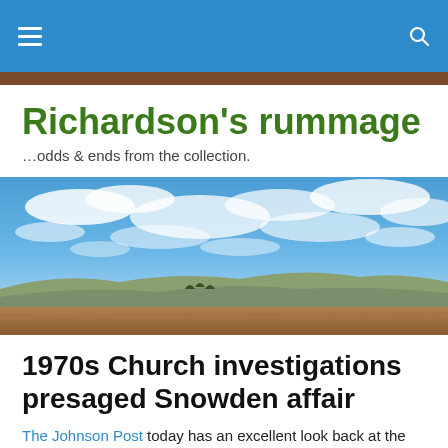Richardson's rummage — navigation bar
Richardson's rummage
…odds & ends from the collection.
[Figure (photo): Panoramic landscape photo showing a wide open terrain with low rolling hills in the background, brown earth in the foreground, and a dramatic blue sky filled with white scattered clouds.]
1970s Church investigations presaged Snowden affair
The Johnson Post today has an excellent look back at the